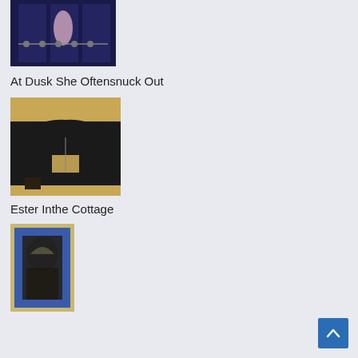[Figure (photo): A dark blue-toned artwork showing a figure in what appears to be an ornate interior with arched elements and chains]
At Dusk She Oftensnuck Out
[Figure (photo): An artwork showing a large dark black mound or hill shape against a golden/tan background, with a rectangular lighter element at its base]
Ester Inthe Cottage
[Figure (photo): An artwork showing a dark archway or doorway framed in blue, with a dark figure visible in the entrance]